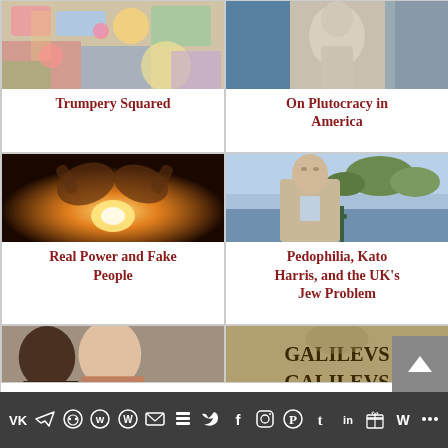[Figure (photo): Colorful abstract/collage image with flowers and mixed media]
Trumpery Squared
[Figure (photo): Close-up photo of a classical sculpture or figurine]
On Plutocracy in America
[Figure (photo): Hands cupped around a glowing orange light source]
Real Power and Fake People
[Figure (photo): Man in grey blazer leaning on a railing by a river with trees in background]
Pedophilia, Kato Harris, and the UK's Jew Problem
[Figure (photo): Partial view of two people (bottom of page, cropped)]
[Figure (photo): Partial view of a book cover reading GALILEVS GALILEVS (bottom of page, cropped)]
[Figure (other): Social media sharing toolbar at the bottom with icons for VK, Telegram, Reddit, WordPress, WhatsApp, Email, Stack, Twitter, Facebook, Instagram, Pinterest, Tumblr, LinkedIn, Gift, Wattpad, Share]